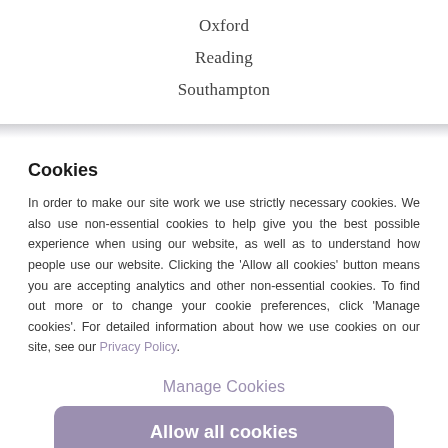Oxford
Reading
Southampton
Cookies
In order to make our site work we use strictly necessary cookies. We also use non-essential cookies to help give you the best possible experience when using our website, as well as to understand how people use our website. Clicking the 'Allow all cookies' button means you are accepting analytics and other non-essential cookies. To find out more or to change your cookie preferences, click 'Manage cookies'. For detailed information about how we use cookies on our site, see our Privacy Policy.
Manage Cookies
Allow all cookies